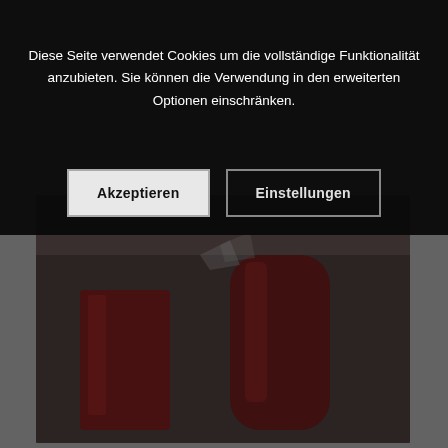Diese Seite verwendet Cookies um die vollständige Funktionalität anzubieten. Sie können die Verwendung in den erweiterten Optionen einschränken.
Akzeptieren
Einstellungen
[Figure (photo): Photo of red cocktails in crystal glasses with ice, blurred background showing bar shelves]